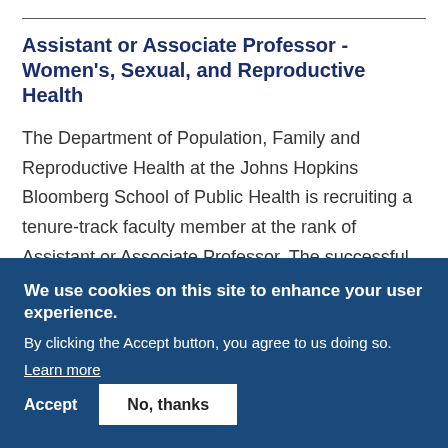Assistant or Associate Professor - Women's, Sexual, and Reproductive Health
The Department of Population, Family and Reproductive Health at the Johns Hopkins Bloomberg School of Public Health is recruiting a tenure-track faculty member at the rank of Assistant or Associate Professor. The successful applicant will apply a life course perspective in
We use cookies on this site to enhance your user experience.
By clicking the Accept button, you agree to us doing so.
Learn more
Accept
No, thanks